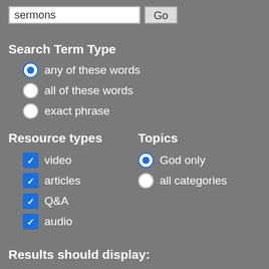[Figure (screenshot): Search input box containing 'sermons' and a Go button]
Search Term Type
any of these words (selected radio button)
all of these words
exact phrase
Resource types
Topics
video (checked)
God only (selected radio)
articles (checked)
all categories
Q&A (checked)
audio (checked)
Results should display: